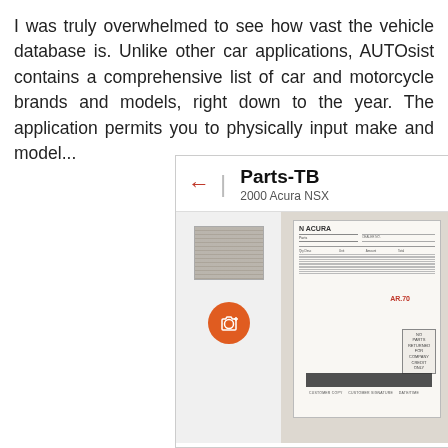I was truly overwhelmed to see how vast the vehicle database is. Unlike other car applications, AUTOsist contains a comprehensive list of car and motorcycle brands and models, right down to the year. The application permits you to physically input make and m...
[Figure (screenshot): Mobile app screenshot showing Parts-TB screen for 2000 Acura NSX. The screen has a back arrow navigation, bold title 'Parts-TB', subtitle '2000 Acura NSX', a sidebar with a thumbnail of a receipt and a camera-add button, and a main content area showing a photograph of a printed Acura parts receipt/invoice.]